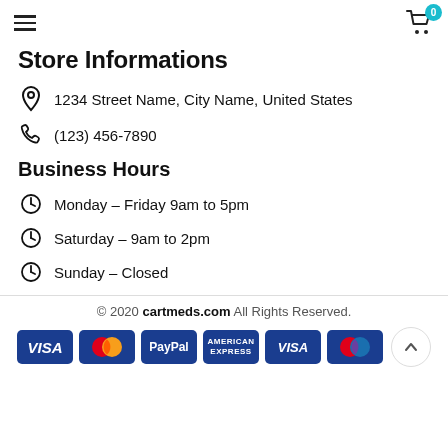Navigation header with hamburger menu and cart icon (0 items)
Store Informations
1234 Street Name, City Name, United States
(123) 456-7890
Business Hours
Monday – Friday 9am to 5pm
Saturday – 9am to 2pm
Sunday – Closed
© 2020 cartmeds.com All Rights Reserved.